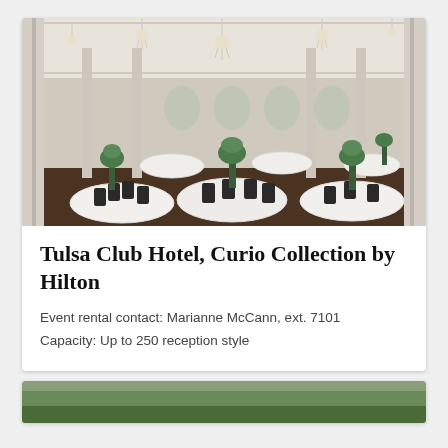[Figure (photo): Interior of a grand ballroom with high ceilings, crystal chandeliers, white-draped round tables, dark chiavari chairs, and tall green floral centerpieces on pedestals.]
Tulsa Club Hotel, Curio Collection by Hilton
Event rental contact: Marianne McCann, ext. 7101
Capacity: Up to 250 reception style
[Figure (photo): Partial view of an outdoor venue, partially cropped at bottom of page.]